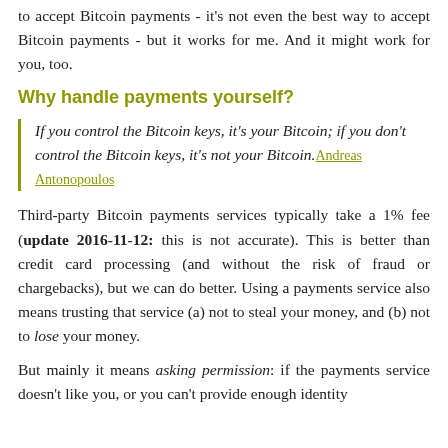to accept Bitcoin payments - it's not even the best way to accept Bitcoin payments - but it works for me. And it might work for you, too.
Why handle payments yourself?
If you control the Bitcoin keys, it's your Bitcoin; if you don't control the Bitcoin keys, it's not your Bitcoin. Andreas Antonopoulos
Third-party Bitcoin payments services typically take a 1% fee (update 2016-11-12: this is not accurate). This is better than credit card processing (and without the risk of fraud or chargebacks), but we can do better. Using a payments service also means trusting that service (a) not to steal your money, and (b) not to lose your money.
But mainly it means asking permission: if the payments service doesn't like you, or you can't provide enough identity verification, you may lose the payment or it may be denied.